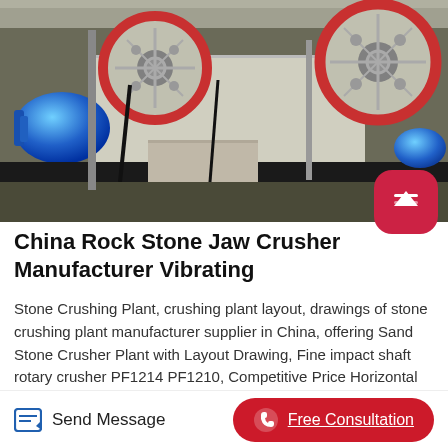[Figure (photo): Industrial jaw crusher machine with large red flywheel pulleys, blue electric motor, conveyor belt, and concrete block in a factory/workshop setting.]
China Rock Stone Jaw Crusher Manufacturer Vibrating
Stone Crushing Plant, crushing plant layout, drawings of stone crushing plant manufacturer supplier in China, offering Sand Stone Crusher Plant with Layout Drawing, Fine impact shaft rotary crusher PF1214 PF1210, Competitive Price Horizontal Shaft Impact Crusher PF1007 PF1010, and so on. China St...
Send Message
Free Consultation